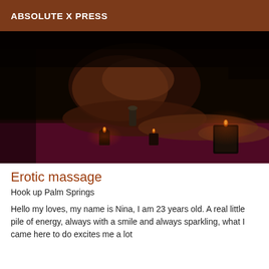ABSOLUTE X PRESS
[Figure (photo): Dark atmospheric image of a massage scene with candles on a surface with red/magenta covering, dimly lit]
Erotic massage
Hook up Palm Springs
Hello my loves, my name is Nina, I am 23 years old. A real little pile of energy, always with a smile and always sparkling, what I came here to do excites me a lot